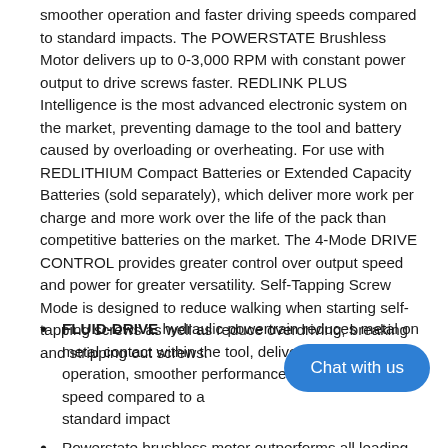smoother operation and faster driving speeds compared to standard impacts. The POWERSTATE Brushless Motor delivers up to 0-3,000 RPM with constant power output to drive screws faster. REDLINK PLUS Intelligence is the most advanced electronic system on the market, preventing damage to the tool and battery caused by overloading or overheating. For use with REDLITHIUM Compact Batteries or Extended Capacity Batteries (sold separately), which deliver more work per charge and more work over the life of the pack than competitive batteries on the market. The 4-Mode DRIVE CONTROL provides greater control over output speed and power for greater versatility. Self-Tapping Screw Mode is designed to reduce walking when starting self-tapping screws as well as reduce overdriving, breaking and stripping out screws.
FLUID-DRIVE hydraulic powertrain reduces metal on metal contact within the tool, delivering quieter operation, smoother performance and increased speed compared to a standard impact
Powerstate brushless motor outperforms all leading competitors
[Figure (other): Blue rounded rectangle chat button overlay with text 'Chat with us']